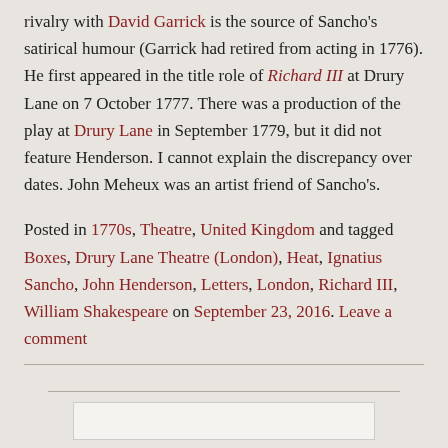rivalry with David Garrick is the source of Sancho's satirical humour (Garrick had retired from acting in 1776). He first appeared in the title role of Richard III at Drury Lane on 7 October 1777. There was a production of the play at Drury Lane in September 1779, but it did not feature Henderson. I cannot explain the discrepancy over dates. John Meheux was an artist friend of Sancho's.
Posted in 1770s, Theatre, United Kingdom and tagged Boxes, Drury Lane Theatre (London), Heat, Ignatius Sancho, John Henderson, Letters, London, Richard III, William Shakespeare on September 23, 2016. Leave a comment